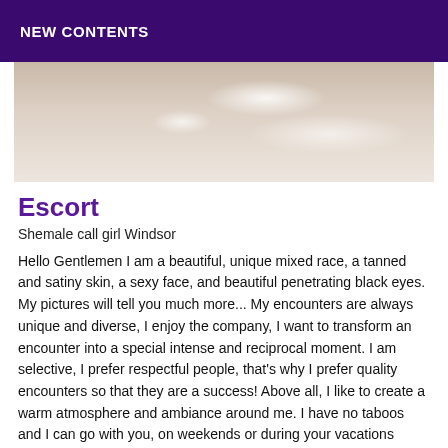NEW CONTENTS
[Figure (photo): Partial photo showing a person in a bubble bath, cropped to show upper portion with foam/bubbles.]
Escort
Shemale call girl Windsor
Hello Gentlemen I am a beautiful, unique mixed race, a tanned and satiny skin, a sexy face, and beautiful penetrating black eyes. My pictures will tell you much more... My encounters are always unique and diverse, I enjoy the company, I want to transform an encounter into a special intense and reciprocal moment. I am selective, I prefer respectful people, that's why I prefer quality encounters so that they are a success! Above all, I like to create a warm atmosphere and ambiance around me. I have no taboos and I can go with you, on weekends or during your vacations anywhere in the world, so having the pleasure to share a moment of